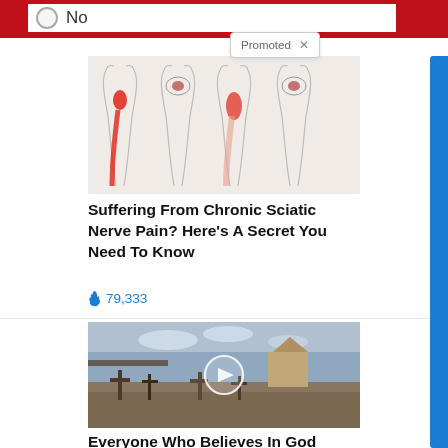No   Promoted ×
[Figure (illustration): Medical illustration showing four human body outlines with red highlighted areas indicating sciatic nerve pain pathways down the legs and hip/pelvis area in red.]
Suffering From Chronic Sciatic Nerve Pain? Here's A Secret You Need To Know
🔥 79,333
[Figure (photo): Cemetery scene with wooden crosses and a church in the background under cloudy sky, with a video play button overlay.]
Everyone Who Believes In God Should Watch This. It Will Blow Your Mind
🔥 2,847,036